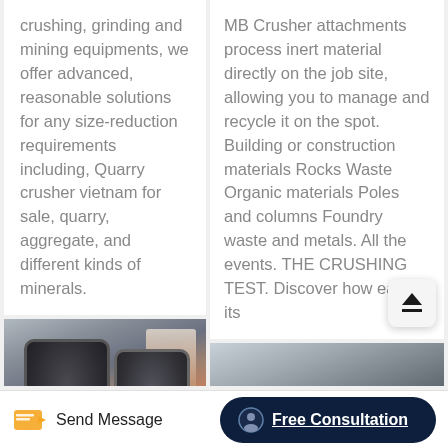crushing, grinding and mining equipments, we offer advanced, reasonable solutions for any size-reduction requirements including, Quarry crusher vietnam for sale, quarry, aggregate, and different kinds of minerals.
MB Crusher attachments process inert material directly on the job site, allowing you to manage and recycle it on the spot. Building or construction materials Rocks Waste Organic materials Poles and columns Foundry waste and metals. All the events. THE CRUSHING TEST. Discover how easy its
[Figure (photo): Industrial crusher machines in a manufacturing facility, showing large cylindrical metal crusher units with industrial equipment in the background.]
[Figure (photo): Partial view of an outdoor industrial or construction site with machinery.]
Send Message
Free Consultation